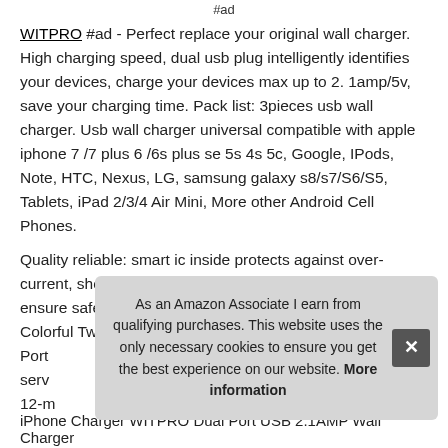#ad
WITPRO #ad - Perfect replace your original wall charger. High charging speed, dual usb plug intelligently identifies your devices, charge your devices max up to 2. 1amp/5v, save your charging time. Pack list: 3pieces usb wall charger. Usb wall charger universal compatible with apple iphone 7 /7 plus 6 /6s plus se 5s 4s 5c, Google, IPods, Note, HTC, Nexus, LG, samsung galaxy s8/s7/S6/S5, Tablets, iPad 2/3/4 Air Mini, More other Android Cell Phones.
Quality reliable: smart ic inside protects against over-current, short-circuit and over-temperature, over-voltage, ensure safety and long life span. Safety fireproof material, Colorful Two-Tone and [obscured by banner] Port[...] serv[...] 12-m[...]
As an Amazon Associate I earn from qualifying purchases. This website uses the only necessary cookies to ensure you get the best experience on our website. More information
iPhone Charger WITPRO Dual Port USB 2.1AMP Wall Charger